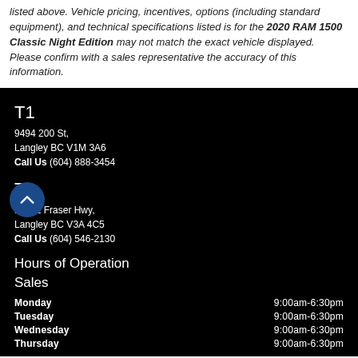listed above. Vehicle pricing, incentives, options (including standard equipment), and technical specifications listed is for the 2020 RAM 1500 Classic Night Edition may not match the exact vehicle displayed. Please confirm with a sales representative the accuracy of this information.
T1
9494 200 St,
Langley BC V1M 3A6
Call Us (604) 888-3454
T2
19602 Fraser Hwy,
Langley BC V3A 4C5
Call Us (604) 546-2130
Hours of Operation
Sales
Monday 9:00am-6:30pm
Tuesday 9:00am-6:30pm
Wednesday 9:00am-6:30pm
Thursday 9:00am-6:30pm